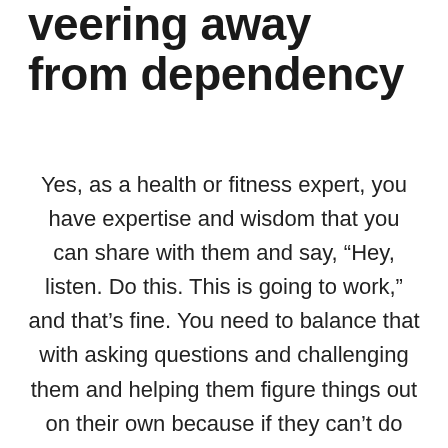veering away from dependency
Yes, as a health or fitness expert, you have expertise and wisdom that you can share with them and say, “Hey, listen. Do this. This is going to work,” and that’s fine. You need to balance that with asking questions and challenging them and helping them figure things out on their own because if they can’t do that on their own, they have become more dependent on you and less empowered for themselves. I think that’s a really bad trap to fall into and that’s something that I’ve had to personally overcome in terms of the way I